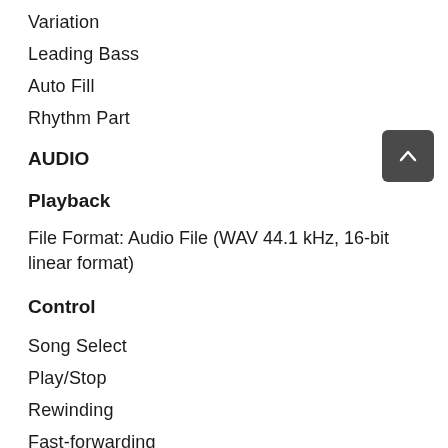Variation
Leading Bass
Auto Fill
Rhythm Part
AUDIO
Playback
File Format: Audio File (WAV 44.1 kHz, 16-bit linear format)
Control
Song Select
Play/Stop
Rewinding
Fast-forwarding
Top of song
All Songs